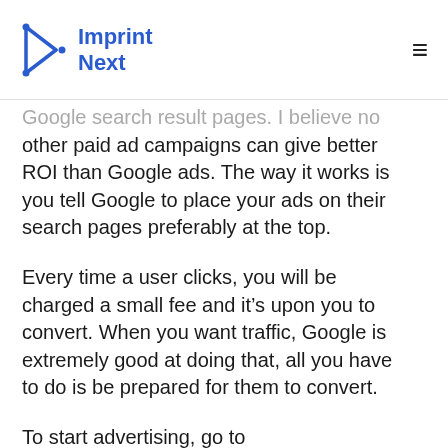Imprint Next
Google search result pages. I believe no other paid ad campaigns can give better ROI than Google ads. The way it works is you tell Google to place your ads on their search pages preferably at the top.
Every time a user clicks, you will be charged a small fee and it's upon you to convert. When you want traffic, Google is extremely good at doing that, all you have to do is be prepared for them to convert.
To start advertising, go to